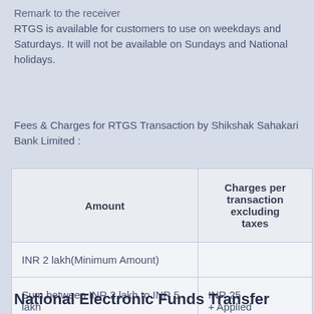Remark to the receiver
RTGS is available for customers to use on weekdays and Saturdays. It will not be available on Sundays and National holidays.
Fees & Charges for RTGS Transaction by Shikshak Sahakari Bank Limited :
| Amount | Charges per transaction excluding taxes |
| --- | --- |
| INR 2 lakh(Minimum Amount) |  |
| Sum between INR 2 lakh to INR 5 lakh | INR 25 + Applied |
| Sum betwwen INR 5 lakh to INR 10 lakh | INR 50 + Applied |
National Electronic Funds Transfer